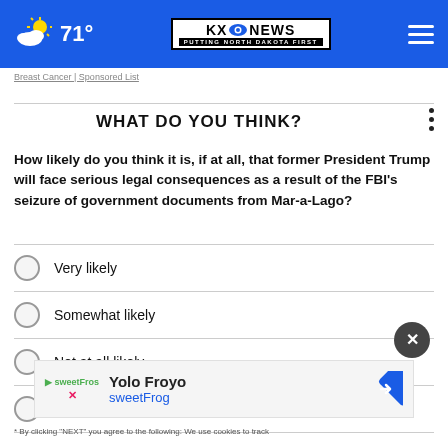KX News - Putting North Dakota First | 71°
Breast Cancer | Sponsored List
WHAT DO YOU THINK?
How likely do you think it is, if at all, that former President Trump will face serious legal consequences as a result of the FBI's seizure of government documents from Mar-a-Lago?
Very likely
Somewhat likely
Not at all likely
Other / No opinion
Yolo Froyo
sweetFrog
* By clicking "NEXT" you agree to the following: We use cookies to track